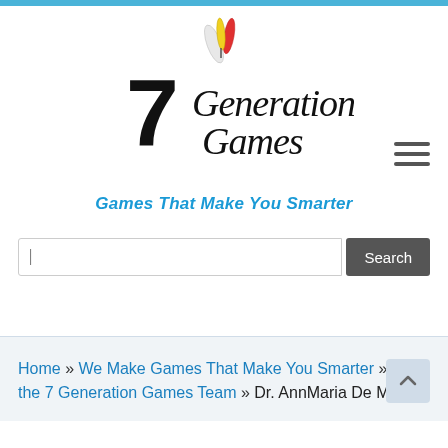[Figure (logo): 7 Generation Games logo with stylized '7' and rocket/feather graphic, black handwritten-style text]
Games That Make You Smarter
[Figure (other): Hamburger menu icon with three horizontal lines]
Search button with input field
Home » We Make Games That Make You Smarter » Meet the 7 Generation Games Team » Dr. AnnMaria De Mars